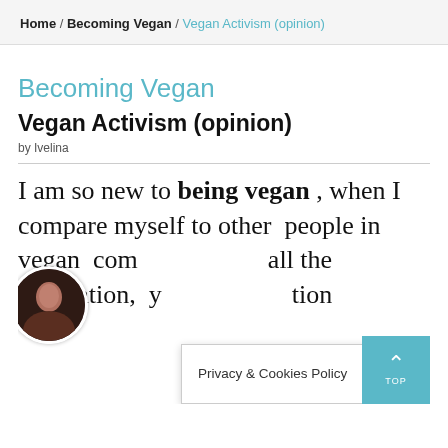Home / Becoming Vegan / Vegan Activism (opinion)
Becoming Vegan
Vegan Activism (opinion)
by Ivelina
I am so new to being vegan , when I compare myself to other people in vegan com all the inspiration, yo tion
Privacy & Cookies Policy